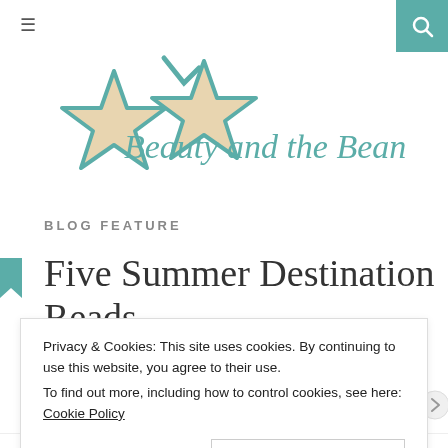≡  🔍
[Figure (logo): Beauty and the Bean Boots logo with teal and beige star decorations and cursive script text]
BLOG FEATURE
Five Summer Destination Reads
JULY 11, 2017
BRITTANY
Privacy & Cookies: This site uses cookies. By continuing to use this website, you agree to their use.
To find out more, including how to control cookies, see here: Cookie Policy
Close and accept